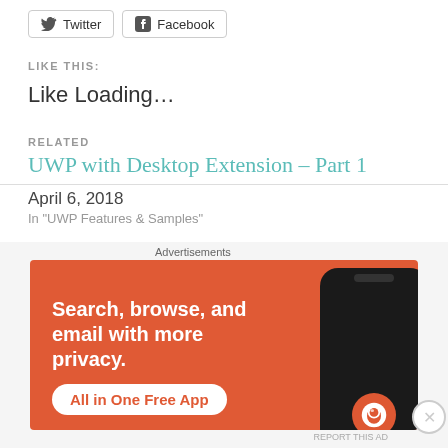Twitter
Facebook
LIKE THIS:
Like Loading…
RELATED
UWP with Desktop Extension – Part 1
April 6, 2018
In "UWP Features & Samples"
UpdateTask for Desktop Bridge apps
June 6, 2017
Advertisements
[Figure (infographic): DuckDuckGo advertisement banner with orange background. Text reads: Search, browse, and email with more privacy. All in One Free App. Shows a smartphone with DuckDuckGo logo.]